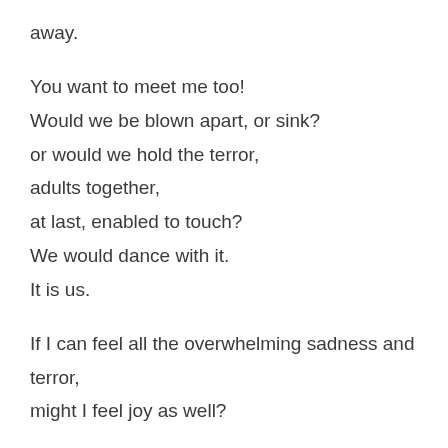away.
You want to meet me too!
Would we be blown apart, or sink?
or would we hold the terror,
adults together,
at last, enabled to touch?
We would dance with it.
It is us.
If I can feel all the overwhelming sadness and terror,
might I feel joy as well?